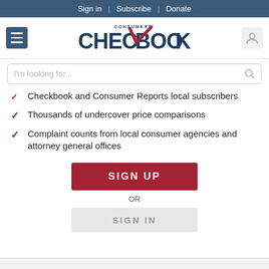Sign in | Subscribe | Donate
[Figure (logo): Consumers' Checkbook logo with red checkmark]
I'm looking for...
Checkbook and Consumer Reports local subscribers
Thousands of undercover price comparisons
Complaint counts from local consumer agencies and attorney general offices
SIGN UP
OR
SIGN IN